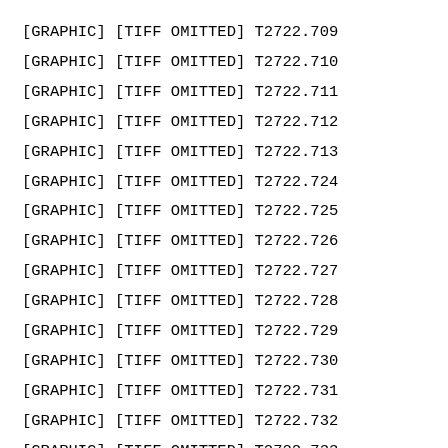[GRAPHIC] [TIFF OMITTED] T2722.709
[GRAPHIC] [TIFF OMITTED] T2722.710
[GRAPHIC] [TIFF OMITTED] T2722.711
[GRAPHIC] [TIFF OMITTED] T2722.712
[GRAPHIC] [TIFF OMITTED] T2722.713
[GRAPHIC] [TIFF OMITTED] T2722.724
[GRAPHIC] [TIFF OMITTED] T2722.725
[GRAPHIC] [TIFF OMITTED] T2722.726
[GRAPHIC] [TIFF OMITTED] T2722.727
[GRAPHIC] [TIFF OMITTED] T2722.728
[GRAPHIC] [TIFF OMITTED] T2722.729
[GRAPHIC] [TIFF OMITTED] T2722.730
[GRAPHIC] [TIFF OMITTED] T2722.731
[GRAPHIC] [TIFF OMITTED] T2722.732
[GRAPHIC] [TIFF OMITTED] T2722.733